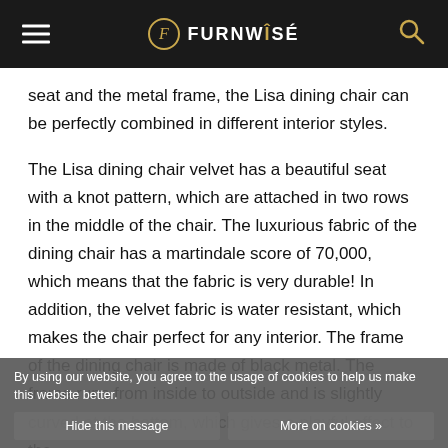FURNWISE
seat and the metal frame, the Lisa dining chair can be perfectly combined in different interior styles.
The Lisa dining chair velvet has a beautiful seat with a knot pattern, which are attached in two rows in the middle of the chair. The luxurious fabric of the dining chair has a martindale score of 70,000, which means that the fabric is very durable! In addition, the velvet fabric is water resistant, which makes the chair perfect for any interior. The frame of the dining chair is made of black metal. The frame runs from inside to outside and is slightly curved at the bottom, which gives a playful effect to the
By using our website, you agree to the usage of cookies to help us make this website better.
Hide this message
More on cookies »